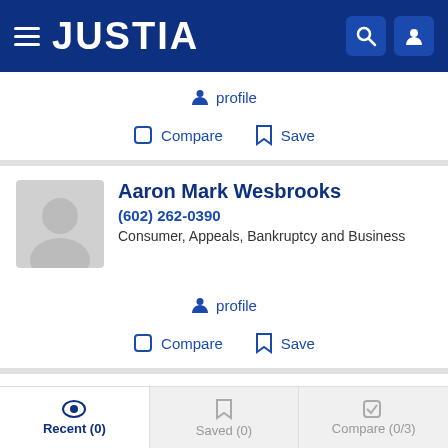JUSTIA
profile
Compare  Save
Aaron Mark Wesbrooks
(602) 262-0390
Consumer, Appeals, Bankruptcy and Business
profile
Compare  Save
Brian Bergin
Recent (0)  Saved (0)  Compare (0/3)